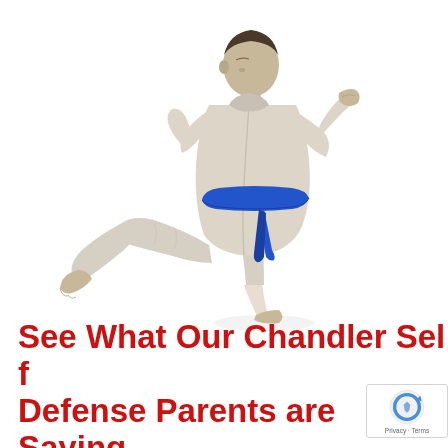[Figure (photo): A person wearing a white karate gi (uniform) with a blue belt, performing a high kick with their left leg raised while in a fighting stance with hands guarding face. White background.]
See What Our Chandler Self Defense Parents are Saying